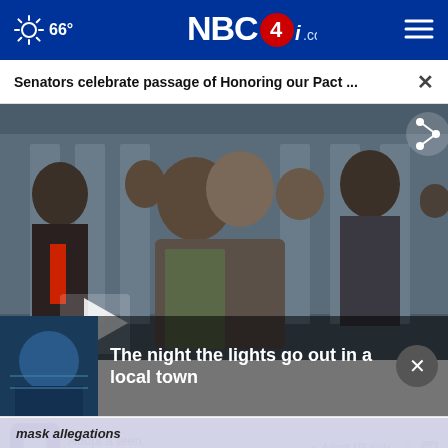NBC4i.com — 66°
Senators celebrate passage of Honoring our Pact ...
[Figure (photo): People hugging and celebrating outdoors at what appears to be a ceremony for the Honoring our Pact Act passage, with veterans and officials applauding in the background.]
The night the lights go out in a local town
Adopt a teen.
You can't imagine the reward.
Adopt US Kids
mask allegations